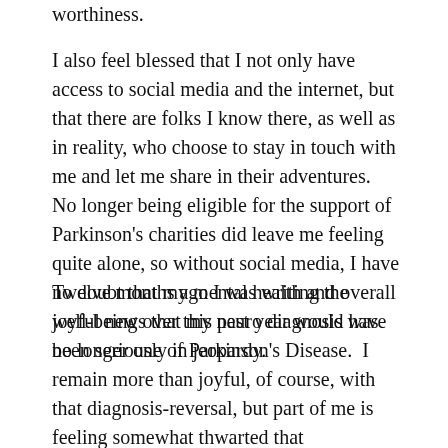worthiness.
I also feel blessed that I not only have access to social media and the internet, but that there are folks I know there, as well as in reality, who choose to stay in touch with me and let me share in their adventures.   No longer being eligible for the support of Parkinson's charities did leave me feeling quite alone, so without social media, I have no doubt that my mental health and overall well-being over this past year would have been seriously in jeopardy.
Twelve months ago I was writing the joyful news that my neuro diagnosis was no longer one of Parkinson's Disease.  I remain more than joyful, of course, with that diagnosis-reversal, but part of me is feeling somewhat thwarted that NewNeuro's predictions with respect to neuro issues are coming